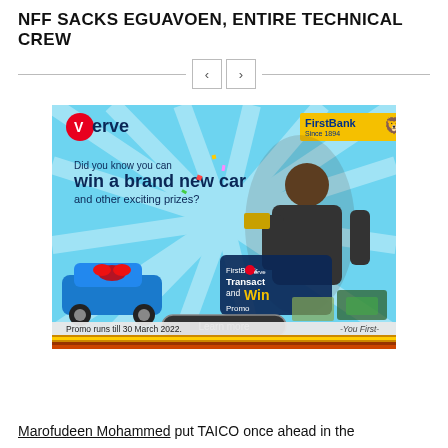NFF SACKS EGUAVOEN, ENTIRE TECHNICAL CREW
[Figure (illustration): FirstBank and Verve advertisement banner. Light blue background with sunburst rays. Text reads: 'Did you know you can win a brand new car and other exciting prizes?' Shows a man holding up car keys and a Verve card. Blue car with red bow in foreground. 'FirstBank Verve Transact and Win Promo' box. 'Learn more' button. 'Promo runs till 30 March 2022.' and '-You First-'. Verve logo top left, FirstBank logo top right. Decorative tribal pattern strip at bottom.]
Marofudeen Mohammed put TAICO once ahead in the